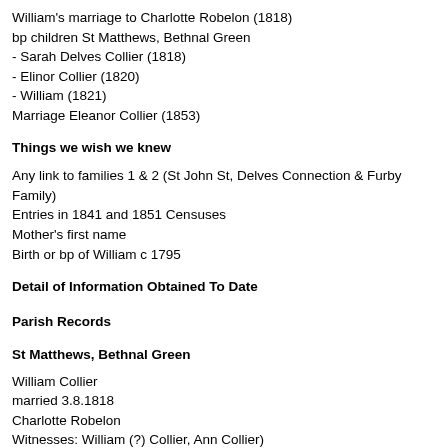William's marriage to Charlotte Robelon (1818)
bp children St Matthews, Bethnal Green
- Sarah Delves Collier (1818)
- Elinor Collier (1820)
- William (1821)
Marriage Eleanor Collier (1853)
Things we wish we knew
Any link to families 1 & 2 (St John St, Delves Connection & Furby Family)
Entries in 1841 and 1851 Censuses
Mother's first name
Birth or bp of William c 1795
Detail of Information Obtained To Date
Parish Records
St Matthews, Bethnal Green
William Collier
married 3.8.1818
Charlotte Robelon
Witnesses: William (?) Collier, Ann Collier)
bp children
St Matthews, Bethnal Green
Sarah Delves Collier 18.10.1818
parents William Collier & Charlotte (chr...)